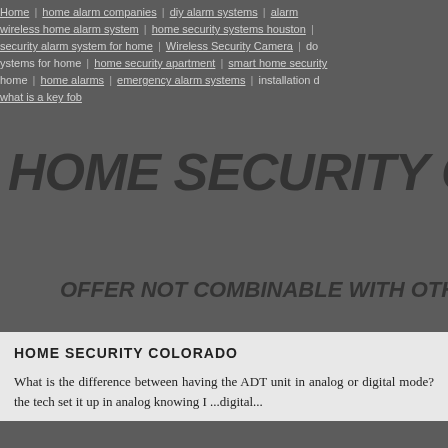Home | home alarm companies | diy alarm systems | alarm | wireless home alarm system | home security systems houston | security alarm system for home | Wireless Security Camera | do... | systems for home | home security apartment | smart home security | home | home alarms | emergency alarm systems | installation d... | what is a key fob
HOME SECURITY COLORADO
OFFER NOT COMBINABLE WITH OTHER P...
HOME SECURITY COLORADO
What is the difference between having the ADT unit in analog or digital mode?the tech set it up in analog knowing I ...digital...